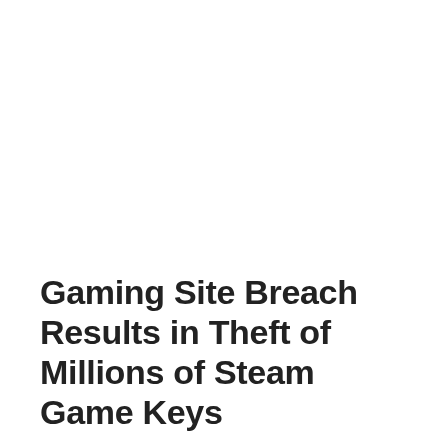Gaming Site Breach Results in Theft of Millions of Steam Game Keys
Ali Raza   August 22, 2016   News
Leave a comment   1,124 Views
A hacker who breached a gaming news site last month gained access to millions of Steam Game Keys and